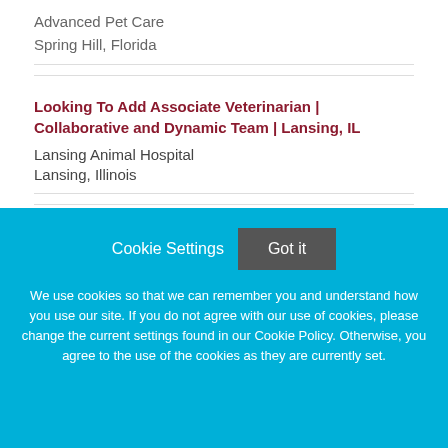Advanced Pet Care
Spring Hill, Florida
Looking To Add Associate Veterinarian | Collaborative and Dynamic Team | Lansing, IL
Lansing Animal Hospital
Lansing, Illinois
Cookie Settings
Got it
We use cookies so that we can remember you and understand how you use our site. If you do not agree with our use of cookies, please change the current settings found in our Cookie Policy. Otherwise, you agree to the use of the cookies as they are currently set.